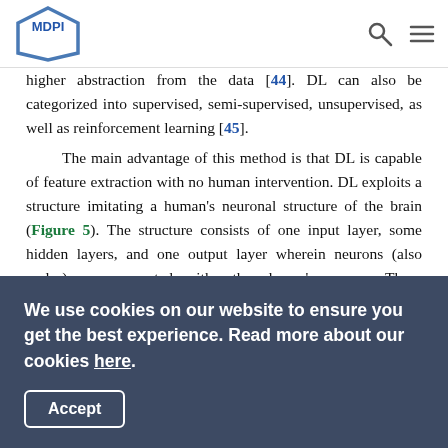MDPI [logo] [search icon] [menu icon]
higher abstraction from the data [44]. DL can also be categorized into supervised, semi-supervised, unsupervised, as well as reinforcement learning [45].
The main advantage of this method is that DL is capable of feature extraction with no human intervention. DL exploits a structure imitating a human's neuronal structure of the brain (Figure 5). The structure consists of one input layer, some hidden layers, and one output layer wherein neurons (also nodes) are connected with other layers' neurons. These connections are assigned a weight, which is calculated during the training process. The algorithm has to determine the best approximate output at each layer to get the desired final result [46, 47, 48].
We use cookies on our website to ensure you get the best experience. Read more about our cookies here.
Accept